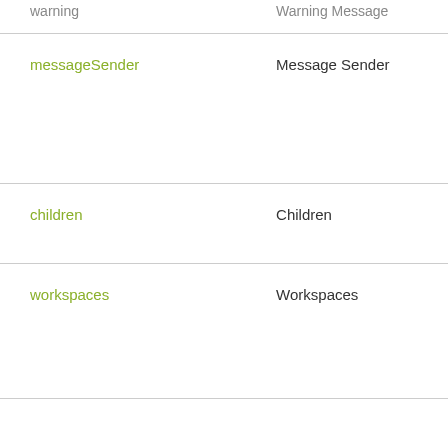| Property | Label | Type |
| --- | --- | --- |
| warning | Warning Message |  |
| messageSender | Message Sender | S |
| children | Children | N |
| workspaces | Workspaces | D |